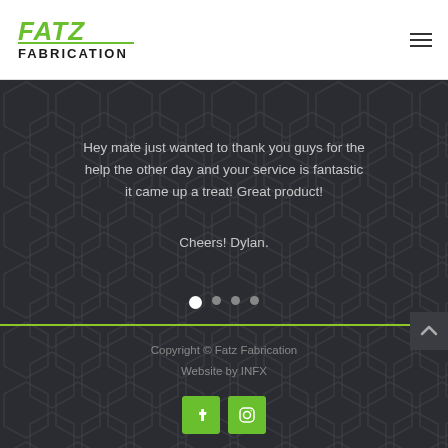[Figure (logo): Fatz Fabrication logo in green and black text]
Hey mate just wanted to thank you guys for the help the other day and your service is fantastic it came up a treat! Great product!

Cheers! Dylan.
Copyright © Fatz Fabrication
Website by INFX